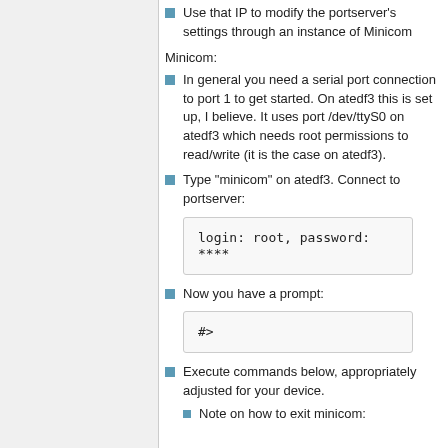Use that IP to modify the portserver's settings through an instance of Minicom
Minicom:
In general you need a serial port connection to port 1 to get started. On atedf3 this is set up, I believe. It uses port /dev/ttyS0 on atedf3 which needs root permissions to read/write (it is the case on atedf3).
Type "minicom" on atedf3. Connect to portserver:
login: root, password: ****
Now you have a prompt:
#>
Execute commands below, appropriately adjusted for your device.
Note on how to exit minicom: